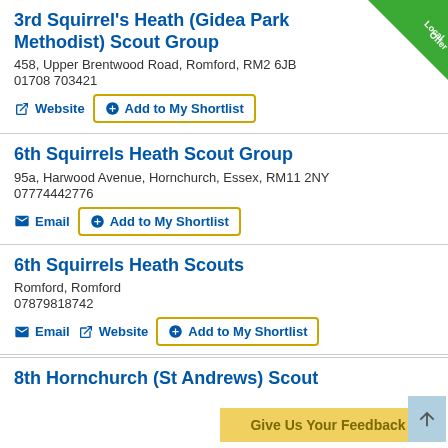3rd Squirrel's Heath (Gidea Park Methodist) Scout Group
458, Upper Brentwood Road, Romford, RM2 6JB
01708 703421
Website  Add to My Shortlist
6th Squirrels Heath Scout Group
95a, Harwood Avenue, Hornchurch, Essex, RM11 2NY
07774442776
Email  Add to My Shortlist
6th Squirrels Heath Scouts
Romford, Romford
07879818742
Email  Website  Add to My Shortlist
8th Hornchurch (St Andrews) Scout
Give Us Your Feedback